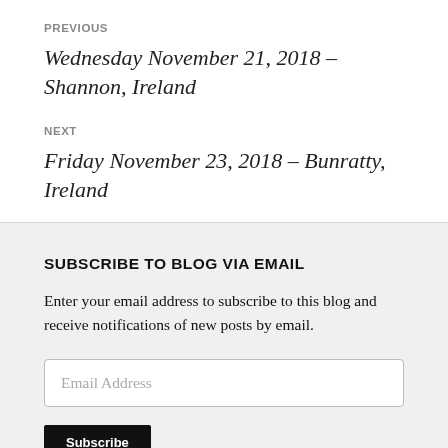PREVIOUS
Wednesday November 21, 2018 – Shannon, Ireland
NEXT
Friday November 23, 2018 – Bunratty, Ireland
SUBSCRIBE TO BLOG VIA EMAIL
Enter your email address to subscribe to this blog and receive notifications of new posts by email.
Email Address